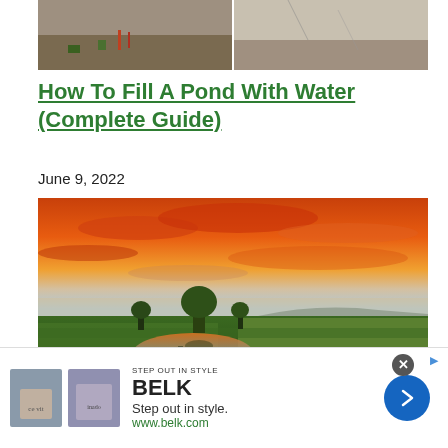[Figure (photo): Close-up of rocky/dry soil with some small reddish plants growing, split into two panels]
How To Fill A Pond With Water (Complete Guide)
June 9, 2022
[Figure (photo): Scenic landscape photo of a pond with green fields, trees on the horizon, and a dramatic orange-red sunset sky]
[Figure (photo): BELK advertisement: Step out in style. www.belk.com — shows clothing thumbnails and blue arrow button]